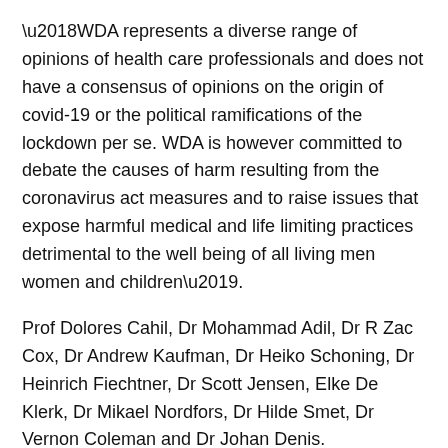‘WDA represents a diverse range of opinions of health care professionals and does not have a consensus of opinions on the origin of covid-19 or the political ramifications of the lockdown per se. WDA is however committed to debate the causes of harm resulting from the coronavirus act measures and to raise issues that expose harmful medical and life limiting practices detrimental to the well being of all living men women and children’.
Prof Dolores Cahil, Dr Mohammad Adil, Dr R Zac Cox, Dr Andrew Kaufman, Dr Heiko Schoning, Dr Heinrich Fiechtner, Dr Scott Jensen, Elke De Klerk, Dr Mikael Nordfors, Dr Hilde Smet, Dr Vernon Coleman and Dr Johan Denis.
WDA's open letter raises questions on the following topics.